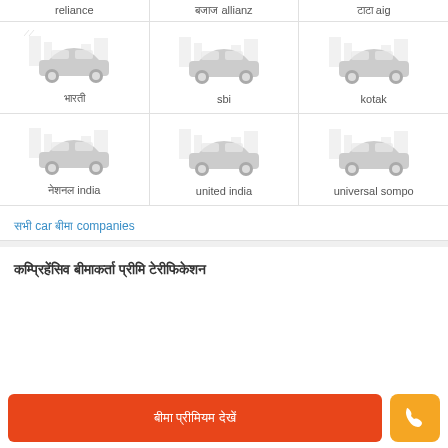[Figure (illustration): Grid of insurance company car icons with labels: reliance, allianz, aig (top row labels); car icons for unnamed, sbi, kotak (middle row); car icons for national india, united india, universal sompo (bottom row)]
सभी car बीमा companies
कम्प्रिहेंसिव बीमाकर्ता प्रीमि टेरीफिकेशन
बीमा प्रीमियम देखें
[Figure (illustration): Phone call button icon in orange]